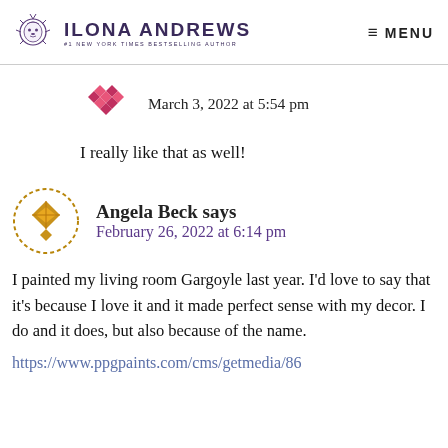ILONA ANDREWS — #1 NEW YORK TIMES BESTSELLING AUTHOR | MENU
March 3, 2022 at 5:54 pm
I really like that as well!
Angela Beck says
February 26, 2022 at 6:14 pm
I painted my living room Gargoyle last year. I'd love to say that it's because I love it and it made perfect sense with my decor. I do and it does, but also because of the name.
https://www.ppgpaints.com/cms/getmedia/86